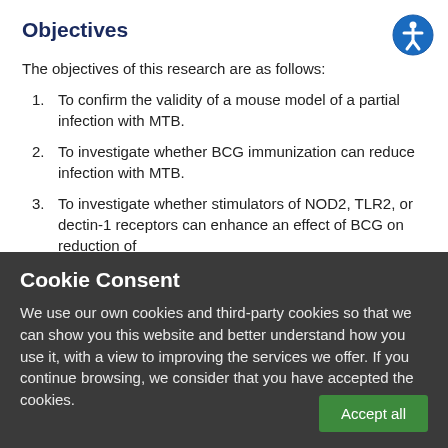Objectives
The objectives of this research are as follows:
To confirm the validity of a mouse model of a partial infection with MTB.
To investigate whether BCG immunization can reduce infection with MTB.
To investigate whether stimulators of NOD2, TLR2, or dectin-1 receptors can enhance an effect of BCG on reduction of
Cookie Consent
We use our own cookies and third-party cookies so that we can show you this website and better understand how you use it, with a view to improving the services we offer. If you continue browsing, we consider that you have accepted the cookies.